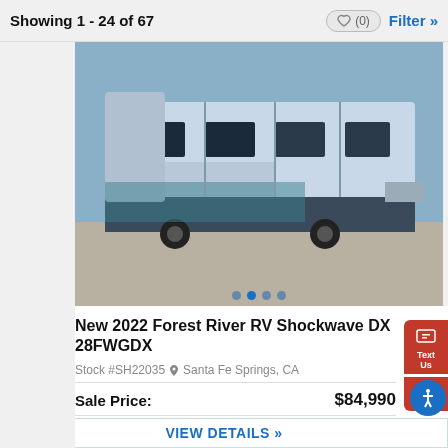Showing 1 - 24 of 67
[Figure (photo): Exterior photo of a 2022 Forest River RV Shockwave DX 28FWGDX, showing the side and front of the large fifth-wheel RV, blue and grey exterior, parked in a lot.]
New 2022 Forest River RV Shockwave DX 28FWGDX
Stock #SH22035  Santa Fe Springs, CA
Sale Price: $84,990
List Price: $106,354
Save: $21,364
Call Today! 562-921-0955
VIEW DETAILS »